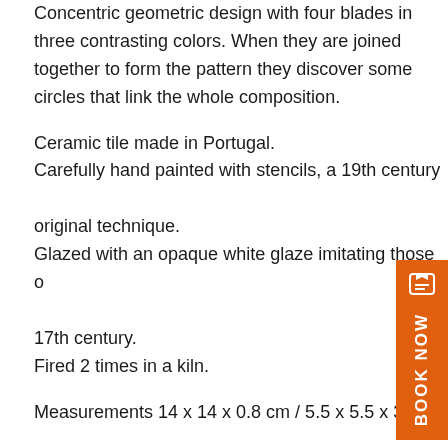Concentric geometric design with four blades in three contrasting colors. When they are joined together to form the pattern they discover some circles that link the whole composition.
Ceramic tile made in Portugal.
Carefully hand painted with stencils, a 19th century original technique.
Glazed with an opaque white glaze imitating those of 17th century.
Fired 2 times in a kiln.
Measurements 14 x 14 x 0.8 cm / 5.5 x 5.5 x 3.1 in.
As the tiles are hand-painted with a brush, slight variations in tone and appearance may occur.
Real colors may differ from their appearance on your